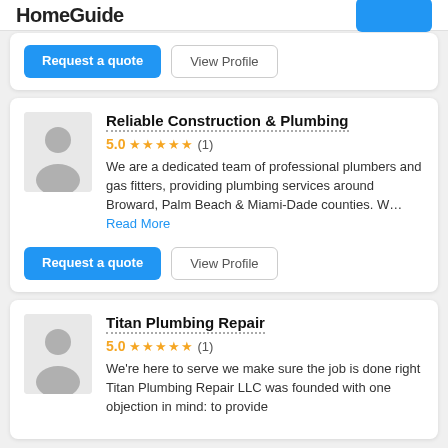HomeGuide
Request a quote | View Profile
Reliable Construction & Plumbing
5.0 ★★★★★ (1)
We are a dedicated team of professional plumbers and gas fitters, providing plumbing services around Broward, Palm Beach & Miami-Dade counties. W... Read More
Request a quote | View Profile
Titan Plumbing Repair
5.0 ★★★★★ (1)
We're here to serve we make sure the job is done right Titan Plumbing Repair LLC was founded with one objection in mind: to provide